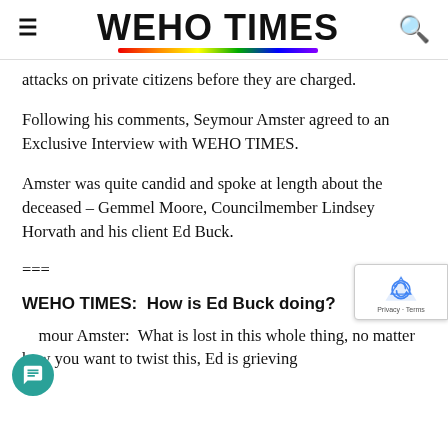WEHO TIMES
attacks on private citizens before they are charged.
Following his comments, Seymour Amster agreed to an Exclusive Interview with WEHO TIMES.
Amster was quite candid and spoke at length about the deceased – Gemmel Moore, Councilmember Lindsey Horvath and his client Ed Buck.
===
WEHO TIMES:  How is Ed Buck doing?
Seymour Amster:  What is lost in this whole thing, no matter how you want to twist this, Ed is grieving